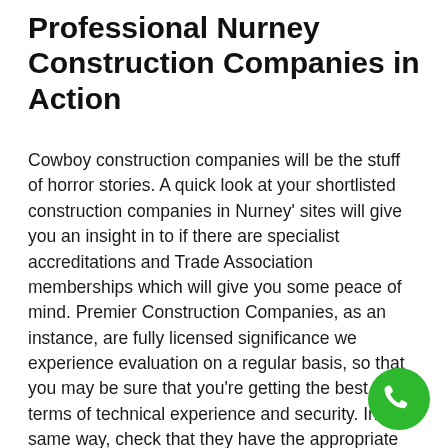Professional Nurney Construction Companies in Action
Cowboy construction companies will be the stuff of horror stories. A quick look at your shortlisted construction companies in Nurney' sites will give you an insight in to if there are specialist accreditations and Trade Association memberships which will give you some peace of mind. Premier Construction Companies, as an instance, are fully licensed significance we experience evaluation on a regular basis, so that you may be sure that you're getting the best in terms of technical experience and security. In the same way, check that they have the appropriate insurance.
[Figure (illustration): Green circular phone call button icon in the bottom-right corner]